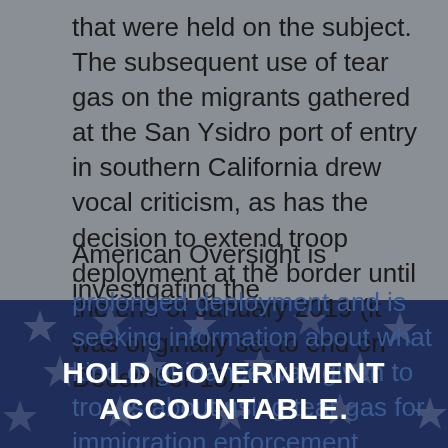that were held on the subject. The subsequent use of tear gas on the migrants gathered at the San Ysidro port of entry in southern California drew vocal criticism, as has the decision to extend troop deployment at the border until the end of January 2019 (it was originally set to end on December 15).
American Oversight is investigating the prolonged deployment and is seeking information about what kind of guidance was given to troops about using tear gas for immigration enforcement, whether Immigrations and Customs Enforcement used facial recognition technology on
HOLD GOVERNMENT ACCOUNTABLE.